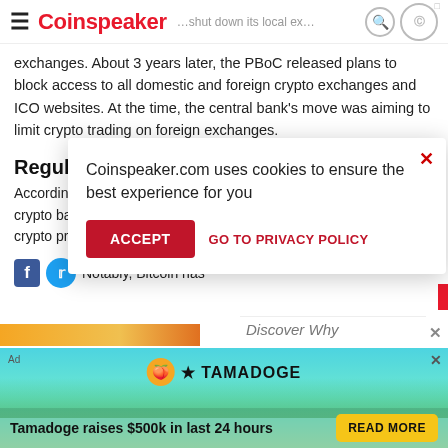Coinspeaker
exchanges. About 3 years later, the PBoC released plans to block access to all domestic and foreign crypto exchanges and ICO websites. At the time, the central bank's move was aiming to limit crypto trading on foreign exchanges.
Regulators on China Crypto Ban
According to the new… to reiterate the cry… resulting in losses a… volatility has "dama… orders."
Notably, Bitcoin has…
[Figure (screenshot): Cookie consent overlay: 'Coinspeaker.com uses cookies to ensure the best experience for you' with ACCEPT button and GO TO PRIVACY POLICY link]
[Figure (infographic): Tamadoge advertisement banner: 'Tamadoge raises $500k in last 24 hours' with READ MORE button]
Discover Why